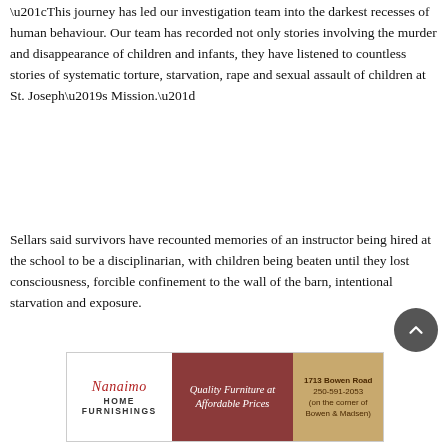“This journey has led our investigation team into the darkest recesses of human behaviour. Our team has recorded not only stories involving the murder and disappearance of children and infants, they have listened to countless stories of systematic torture, starvation, rape and sexual assault of children at St. Joseph’s Mission.”
Sellars said survivors have recounted memories of an instructor being hired at the school to be a disciplinarian, with children being beaten until they lost consciousness, forcible confinement to the wall of the barn, intentional starvation and exposure.
[Figure (infographic): Nanaimo Home Furnishings advertisement with text 'Quality Furniture at Affordable Prices' and address '1713 Bowen Road 250-591-2053 (on the corner of Bowen & Madsen)']